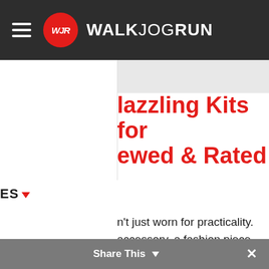WALKJOGRUN
lazzling Kits for ewed & Rated
ES
n't just worn for practicality. accessory, a fashion piece, shing touch to your outfit and shine. There are countless s when it comes to footwear, er by customizing your own very pricey bedazzled shoes, ary pairs and make them
Share This